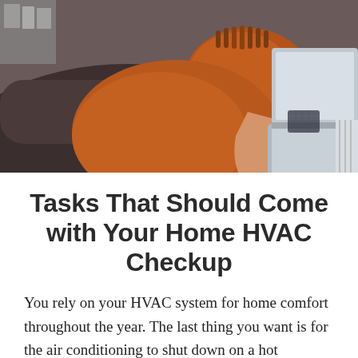[Figure (photo): A person wearing an orange/rust-colored top sitting on a dark couch, using a silver laptop. An orange pillow is visible behind them.]
Tasks That Should Come with Your Home HVAC Checkup
You rely on your HVAC system for home comfort throughout the year. The last thing you want is for the air conditioning to shut down on a hot